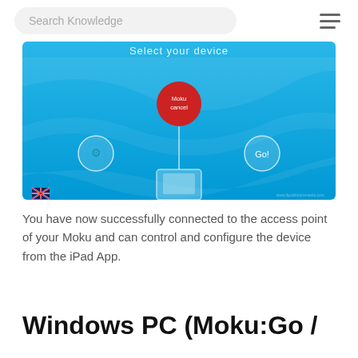Search Knowledge
[Figure (screenshot): Screenshot of the Moku app showing 'Select your device' screen with a blue background. A red circle labeled 'Moku' and 'cancel' is visible in the center, connected by a line to a tablet icon at the bottom. A gear icon is on the left and a 'Go!' button on the right. UK flag icon is at the bottom left.]
You have now successfully connected to the access point of your Moku and can control and configure the device from the iPad App.
Windows PC (Moku:Go /